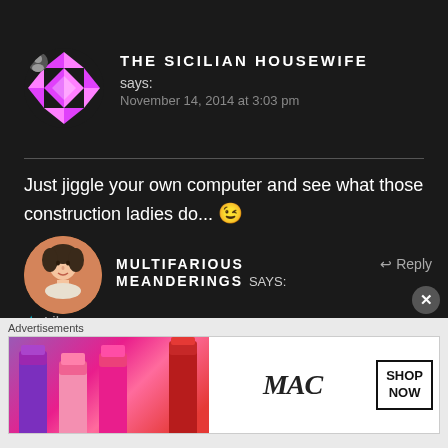[Figure (illustration): Avatar circle with geometric pink/magenta triangular star pattern on dark background, small user icon badge top-left]
THE SICILIAN HOUSEWIFE says: November 14, 2014 at 3:03 pm
Just jiggle your own computer and see what those construction ladies do... 😉
★ Like
[Figure (illustration): Avatar circle with vintage illustration of a woman's face, peach/orange background]
MULTIFARIOUS MEANDERINGS says:
↩ Reply
Advertisements
[Figure (screenshot): MAC Cosmetics advertisement showing colorful lipsticks (purple, pink, red) with MAC logo and SHOP NOW button]